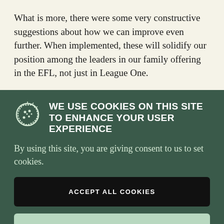What is more, there were some very constructive suggestions about how we can improve even further. When implemented, these will solidify our position among the leaders in our family offering in the EFL, not just in League One.
WE USE COOKIES ON THIS SITE TO ENHANCE YOUR USER EXPERIENCE
By using this site, you are giving consent to us to set cookies.
ACCEPT ALL COOKIES
MORE INFO